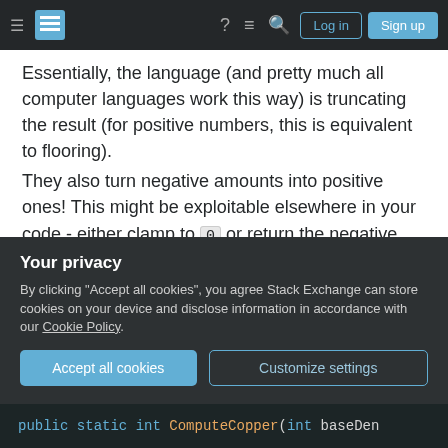Stack Exchange navigation bar with hamburger menu, logo, help, chat, search icons, Log in and Sign up buttons
Essentially, the language (and pretty much all computer languages work this way) is truncating the result (for positive numbers, this is equivalent to flooring).
They also turn negative amounts into positive ones! This might be exploitable elsewhere in your code - either clamp to 0 or return the negative values.
Oh, and ComputePlatinum is also running into integer overflow: the input is a long , but the output is an int . Large enough positive values will turn into... something else, quite possibly negative. You
Your privacy
By clicking "Accept all cookies", you agree Stack Exchange can store cookies on your device and disclose information in accordance with our Cookie Policy.
Accept all cookies   Customize settings
public static int ComputeCopper(int baseDen